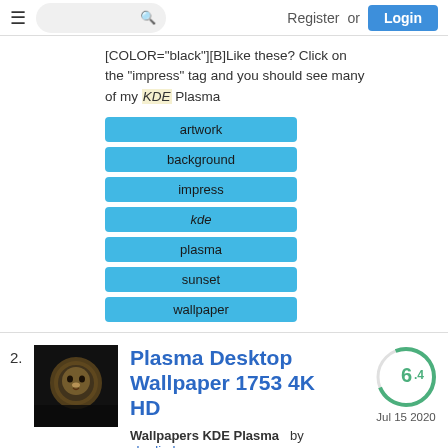Register or Login
[COLOR="black"][B]Like these? Click on the "impress" tag and you should see many of my KDE Plasma
artwork
background
impress
kde
plasma
sunset
wallpaper
Plasma Desktop Wallpaper 1753 4K HD
Wallpapers KDE Plasma   by charlie-henson
[B]Like these? Click on the "impress" tag and you should